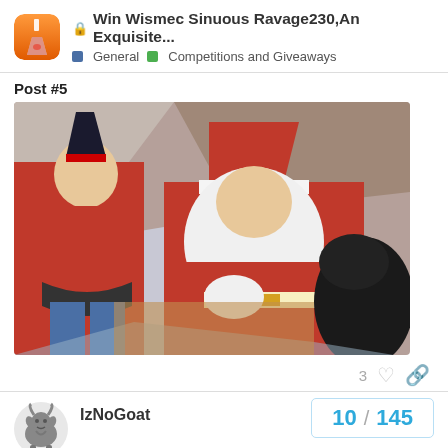Win Wismec Sinuous Ravage230,An Exquisite... | General | Competitions and Giveaways
Post #5
[Figure (photo): Photo of a person dressed as an elf helper in red costume with black hat standing next to Santa Claus who is bent over wearing full red and white Santa suit, indoor holiday setting]
3
IzNoGoat
Dec '17
10 / 145